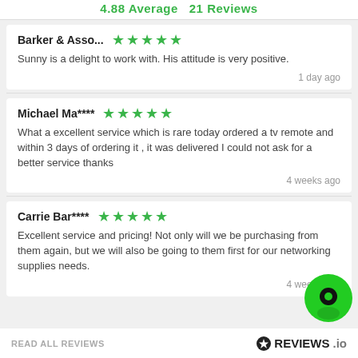4.88 Average   21 Reviews
Barker & Asso... ★★★★★
Sunny is a delight to work with. His attitude is very positive.
1 day ago
Michael Ma**** ★★★★★
What a excellent service which is rare today ordered a tv remote and within 3 days of ordering it , it was delivered I could not ask for a better service thanks
4 weeks ago
Carrie Bar**** ★★★★★
Excellent service and pricing! Not only will we be purchasing from them again, but we will also be going to them first for our networking supplies needs.
4 weeks ago
READ ALL REVIEWS   ✪REVIEWS.io